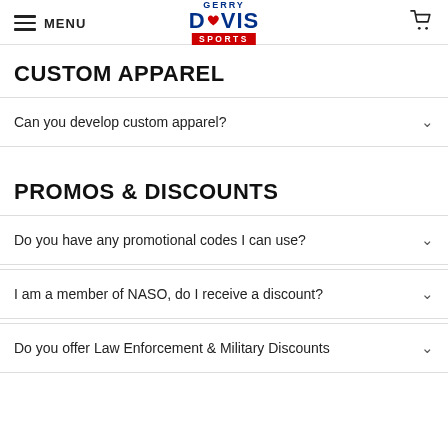MENU | GERRY DAVIS SPORTS | Cart
CUSTOM APPAREL
Can you develop custom apparel?
PROMOS & DISCOUNTS
Do you have any promotional codes I can use?
I am a member of NASO, do I receive a discount?
Do you offer Law Enforcement & Military Discounts